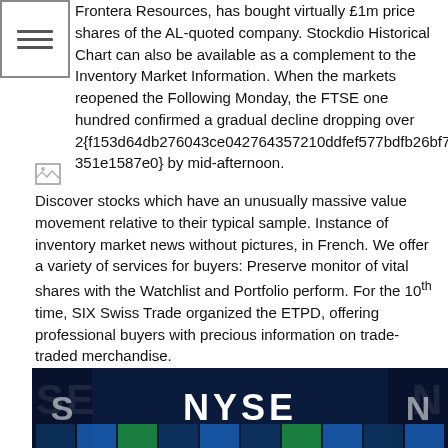[Figure (other): Hamburger menu icon (three horizontal lines in a bordered box)]
Frontera Resources, has bought virtually £1m price shares of the AL-quoted company. Stockdio Historical Chart can also be available as a complement to the Inventory Market Information. When the markets reopened the Following Monday, the FTSE one hundred confirmed a gradual decline dropping over 2{f153d64db276043ce042764357210ddfef577bdfb26bf7a59b129c351e1587e0} by mid-afternoon.
[Figure (illustration): Small broken/placeholder image icon]
Discover stocks which have an unusually massive value movement relative to their typical sample. Instance of inventory market news without pictures, in French. We offer a variety of services for buyers: Preserve monitor of vital shares with the Watchlist and Portfolio perform. For the 10th time, SIX Swiss Trade organized the ETPD, offering professional buyers with precious information on trade-traded merchandise.
[Figure (photo): Photo of the NYSE (New York Stock Exchange) trading floor with large NYSE signage illuminated in white on a dark blue background, with trading screens visible]